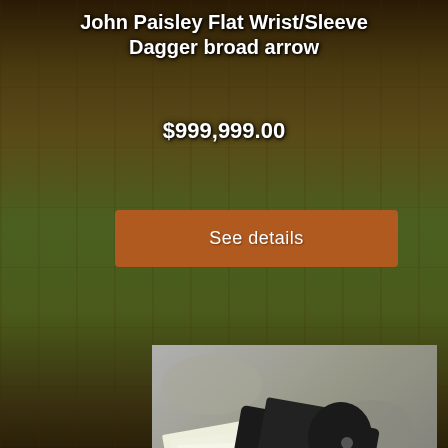John Paisley Flat Wrist/Sleeve Dagger broad arrow
$999,999.00
See details
[Figure (photo): A flat wrist/sleeve dagger blade with black and brown leather sheath displayed on a stone surface, accompanied by several paper documents/certificates.]